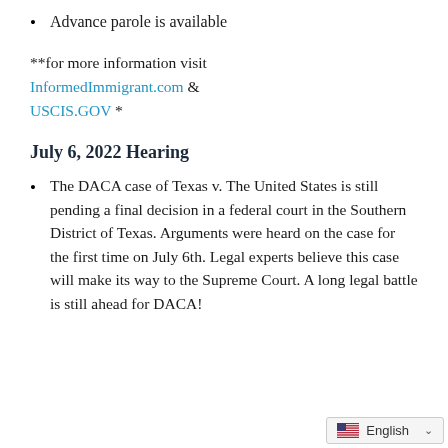Advance parole is available
**for more information visit InformedImmigrant.com & USCIS.GOV *
July 6, 2022 Hearing
The DACA case of Texas v. The United States is still pending a final decision in a federal court in the Southern District of Texas. Arguments were heard on the case for the first time on July 6th. Legal experts believe this case will make its way to the Supreme Court. A long legal battle is still ahead for DACA!